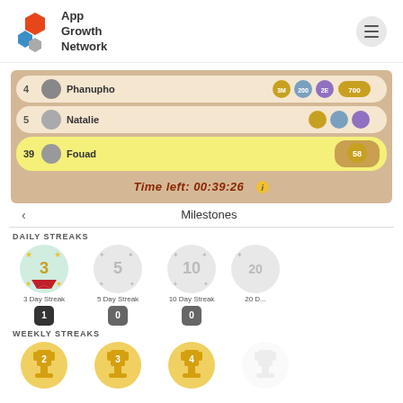[Figure (logo): App Growth Network logo with orange and blue hexagon shapes and text]
[Figure (screenshot): Mobile game leaderboard screenshot showing players Phanupho (rank 4), Natalie (rank 5), and Fouad (rank 39, highlighted in yellow) with 'Time left: 00:39:26']
Milestones
DAILY STREAKS
[Figure (infographic): Daily streaks badges: 3 Day Streak (active, count 1), 5 Day Streak (inactive, count 0), 10 Day Streak (inactive, count 0), 20 Day partially visible]
WEEKLY STREAKS
[Figure (infographic): Weekly streaks trophy icons partially visible at bottom: ranks 2, 3, 4]